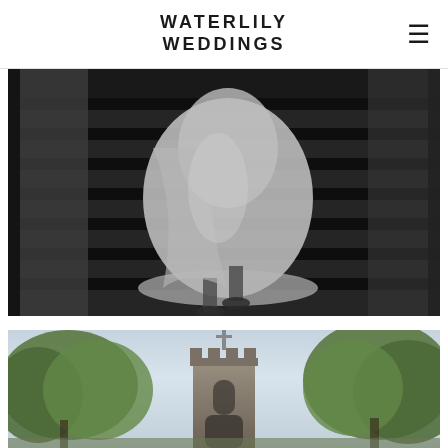WATERLILY WEDDINGS
[Figure (photo): Black and white photograph of a bride in a white lace dress walking up dark wooden stairs, only the lower half of her body visible, with ornate banister visible on the left side]
[Figure (photo): Color photograph of a stone church exterior with gothic architecture, surrounded by green trees under a pale blue sky]